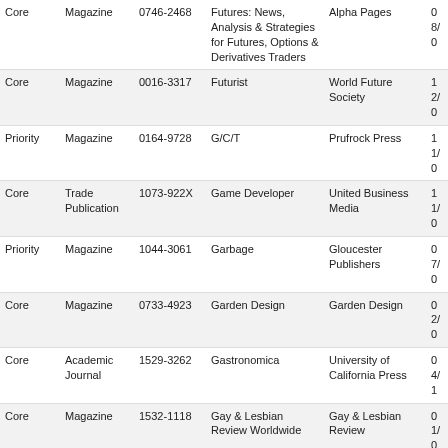|  |  |  |  |  |  |
| --- | --- | --- | --- | --- | --- |
| Core | Magazine | 0746-2468 | Futures: News, Analysis & Strategies for Futures, Options & Derivatives Traders | Alpha Pages | 08/0 |
| Core | Magazine | 0016-3317 | Futurist | World Future Society | 12/0 |
| Priority | Magazine | 0164-9728 | G/C/T | Prufrock Press | 11/0 |
| Core | Trade Publication | 1073-922X | Game Developer | United Business Media | 11/0 |
| Priority | Magazine | 1044-3061 | Garbage | Gloucester Publishers | 07/0 |
| Core | Magazine | 0733-4923 | Garden Design | Garden Design | 02/0 |
| Core | Academic Journal | 1529-3262 | Gastronomica | University of California Press | 04/1 |
| Core | Magazine | 1532-1118 | Gay & Lesbian Review Worldwide | Gay & Lesbian Review | 01/0 |
| Priority | Academic Journal | 0016-5530 | Gazette des Beaux Arts | Societe Les Beaux Arts | 05/0 |
| Core | Academic Journal | 0016-626X | Gems & Gemology | Gemological Institute of America | 03/0 |
| Core | Academic Journal | 1596-9231 | Gender & Behaviour | IFE Centre for Psychological Studies | 05/0 |
| Core | Academic Journal | 0953-5233 | Gender & History | Wiley-Blackwell | 04/0 |
| Core | Academic Journal | 0891-2432 | Gender & Society | Sage Publications | 03/0 |